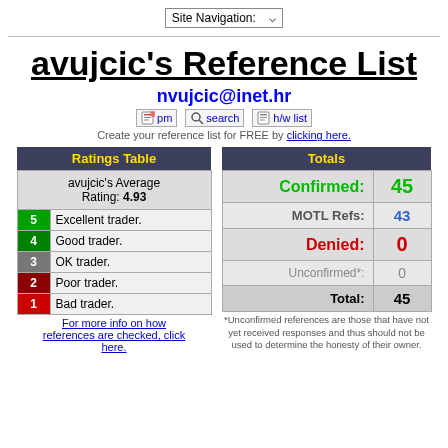Site Navigation: ▼
avujcic's Reference List
nvujcic@inet.hr
pm  search  h/w list
Create your reference list for FREE by clicking here.
| Ratings Table |
| --- |
| avujcic's Average Rating: 4.93 |
| 5 | Excellent trader. |
| 4 | Good trader. |
| 3 | OK trader. |
| 2 | Poor trader. |
| 1 | Bad trader. |
For more info on how references are checked, click here.
| Totals |
| --- |
| Confirmed: | 45 |
| MOTL Refs: | 43 |
| Denied: | 0 |
| Unconfirmed*: | 0 |
| Total: | 45 |
*Unconfirmed references are those that have not yet received responses and thus should not be used to determine the honesty of their owner.